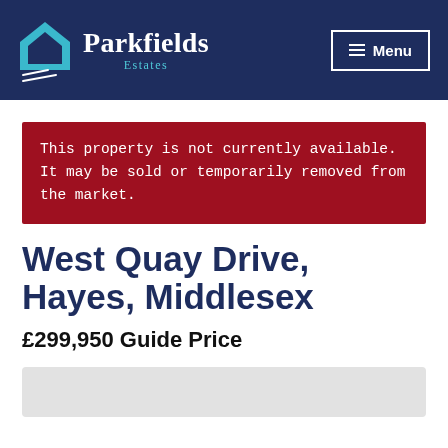Parkfields Estates — Menu
This property is not currently available. It may be sold or temporarily removed from the market.
West Quay Drive, Hayes, Middlesex
£299,950 Guide Price